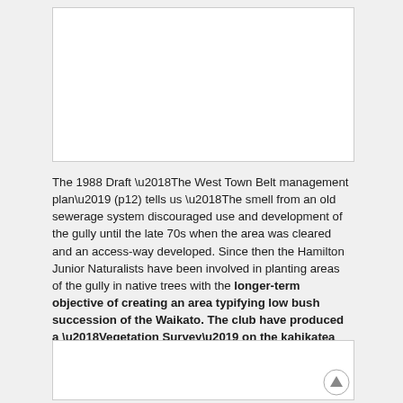[Figure (photo): White rectangular image box at top of page, mostly blank/white]
The 1988 Draft ‘The West Town Belt management plan’ (p12) tells us ‘The smell from an old sewerage system discouraged use and development of the gully until the late 70s when the area was cleared and an access-way developed. Since then the Hamilton Junior Naturalists have been involved in planting areas of the gully in native trees with the longer-term objective of creating an area typifying low bush succession of the Waikato. The club have produced a ‘Vegetation Survey’ on the kahikatea Type Forest Community as a guide to their planting strategy.’
[Figure (photo): White rectangular image box at bottom of page, mostly blank/white]